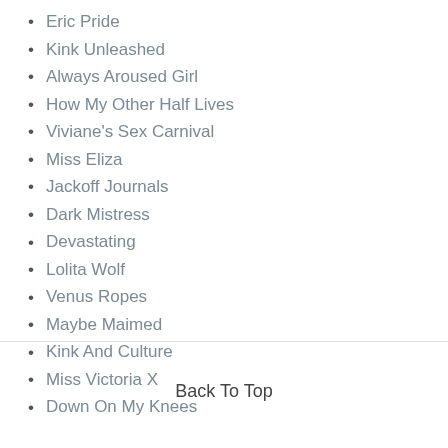Eric Pride
Kink Unleashed
Always Aroused Girl
How My Other Half Lives
Viviane's Sex Carnival
Miss Eliza
Jackoff Journals
Dark Mistress
Devastating
Lolita Wolf
Venus Ropes
Maybe Maimed
Kink And Culture
Miss Victoria X
Down On My Knees
Back To Top